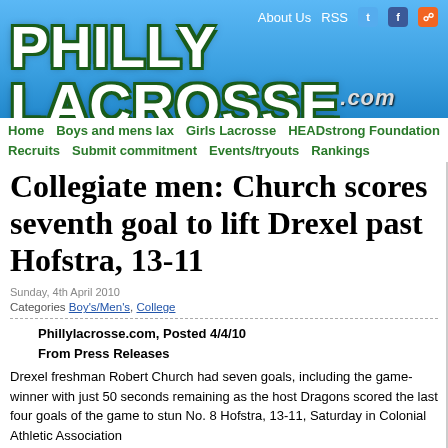[Figure (screenshot): PhillyLacrosse.com website header with blue gradient background showing the site logo 'PHILLY LACROSSE.com' in large grunge-style white text with dark green outline, navigation bar with About Us, RSS, Twitter, Facebook, RSS icon links at top]
About Us  RSS
Collegiate men: Church scores seventh goal to lift Drexel past Hofstra, 13-11
Sunday, 4th April 2010
Categories Boy's/Men's, College
Phillylacrosse.com, Posted 4/4/10
From Press Releases
Drexel freshman Robert Church had seven goals, including the game-winner with just 50 seconds remaining as the host Dragons scored the last four goals of the game to stun No. 8 Hofstra, 13-11, Saturday in Colonial Athletic Association...